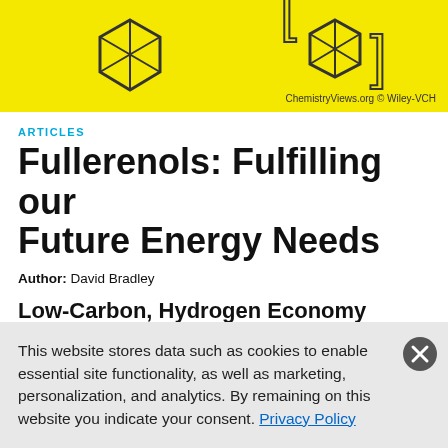[Figure (illustration): Yellow background illustration showing molecular/chemical hexagon structures (fullerene diagrams) with text watermark 'ChemistryViews.org © Wiley-VCH']
ChemistryViews.org © Wiley-VCH
ARTICLES
Fullerenols: Fulfilling our Future Energy Needs
Author: David Bradley
Low-Carbon, Hydrogen Economy
Carbon is big business chemically speaking, from diamonds to the
This website stores data such as cookies to enable essential site functionality, as well as marketing, personalization, and analytics. By remaining on this website you indicate your consent. Privacy Policy